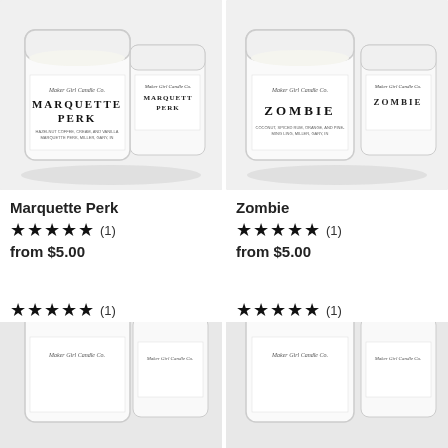[Figure (photo): Two white candle jars labeled Marquette Perk by Maker Girl Candle Co. on a white/gray background.]
[Figure (photo): Two white candle jars labeled Zombie by Maker Girl Candle Co. on a white/gray background.]
Marquette Perk
★★★★★ (1)
from $5.00
Zombie
★★★★★ (1)
from $5.00
★★★★★ (1)
★★★★★ (1)
[Figure (photo): Partial view of white candle jars labeled Maker Girl Candle Co., cropped at bottom of page.]
[Figure (photo): Partial view of white candle jars labeled Maker Girl Candle Co., cropped at bottom of page.]